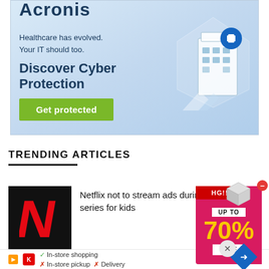[Figure (illustration): Acronis advertisement banner with light blue gradient background, healthcare/cyber protection messaging, green 'Get protected' button, and a building illustration with a medical cross icon on the right]
Healthcare has evolved. Your IT should too.
Discover Cyber Protection
Get protected
TRENDING ARTICLES
[Figure (photo): Netflix logo - red N on black background]
Netflix not to stream ads during series for kids
[Figure (illustration): Floating sale widget showing 'UP TO 70% OFF' in yellow on pink/red background with a 3D box graphic and red minus button]
In-store shopping  In-store pickup  Delivery